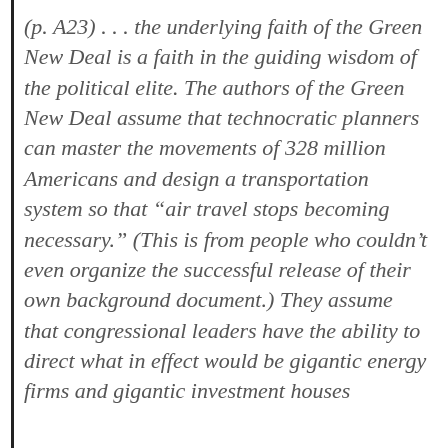(p. A23) . . . the underlying faith of the Green New Deal is a faith in the guiding wisdom of the political elite. The authors of the Green New Deal assume that technocratic planners can master the movements of 328 million Americans and design a transportation system so that “air travel stops becoming necessary.” (This is from people who couldn’t even organize the successful release of their own background document.) They assume that congressional leaders have the ability to direct what in effect would be gigantic energy firms and gigantic investment houses